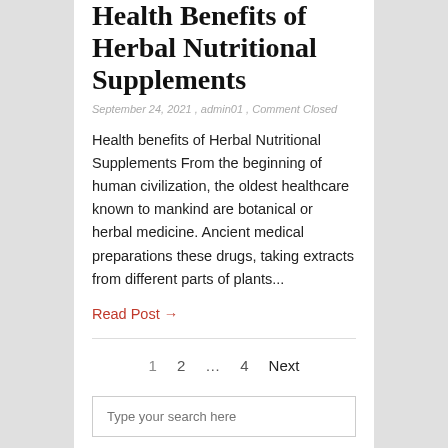Health Benefits of Herbal Nutritional Supplements
September 24, 2021 , admin01 , Comment Closed
Health benefits of Herbal Nutritional Supplements From the beginning of human civilization, the oldest healthcare known to mankind are botanical or herbal medicine. Ancient medical preparations these drugs, taking extracts from different parts of plants...
Read Post →
1  2  ...  4  Next